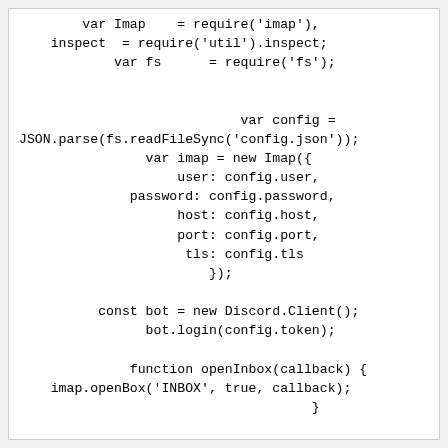var Imap    = require('imap'),
    inspect  = require('util').inspect;
        var fs      = require('fs');


                            var config =
JSON.parse(fs.readFileSync('config.json'));
                var imap = new Imap({
                    user: config.user,
              password: config.password,
                    host: config.host,
                    port: config.port,
                     tls: config.tls
                        });

          const bot = new Discord.Client();
                bot.login(config.token);

              function openInbox(callback) {
    imap.openBox('INBOX', true, callback);
                                     }

    // Send the newest message to discord
              function sendNewest() {
          openInbox(function(err, box) {
                      if (err) throw err;

                               var f =
imap.seq.fetch(box.messages.total + ':*', {
                                  id: 1